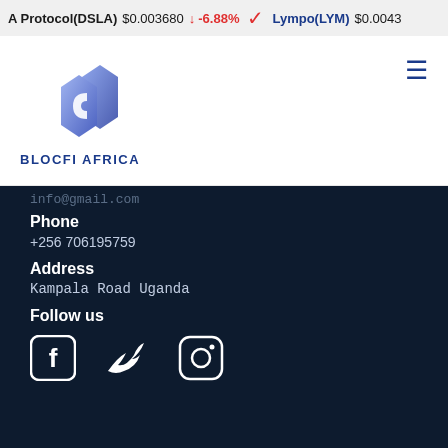A Protocol(DSLA) $0.003680 ↓ -6.88% ▼ Lympo(LYM) $0.0043
[Figure (logo): BlocFi Africa logo: blue hexagonal icon with letter C shape, text BLOCFI AFRICA below]
info@gmail.com (partially visible)
Phone
+256 706195759
Address
Kampala Road Uganda
Follow us
[Figure (illustration): Social media icons: Facebook, Twitter, Instagram]